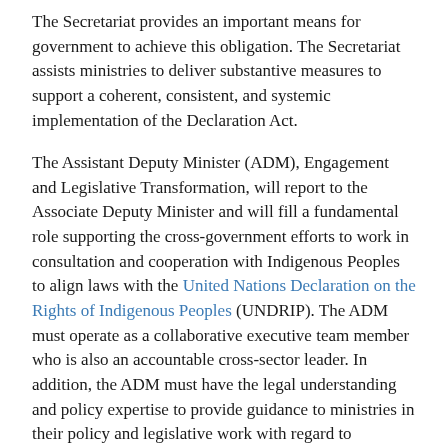The Secretariat provides an important means for government to achieve this obligation. The Secretariat assists ministries to deliver substantive measures to support a coherent, consistent, and systemic implementation of the Declaration Act.
The Assistant Deputy Minister (ADM), Engagement and Legislative Transformation, will report to the Associate Deputy Minister and will fill a fundamental role supporting the cross-government efforts to work in consultation and cooperation with Indigenous Peoples to align laws with the United Nations Declaration on the Rights of Indigenous Peoples (UNDRIP). The ADM must operate as a collaborative executive team member who is also an accountable cross-sector leader. In addition, the ADM must have the legal understanding and policy expertise to provide guidance to ministries in their policy and legislative work with regard to alignment with the UN Declaration.
Applications for this position are limited to those who self-identify as living or with those residing in the jurisdiction of...